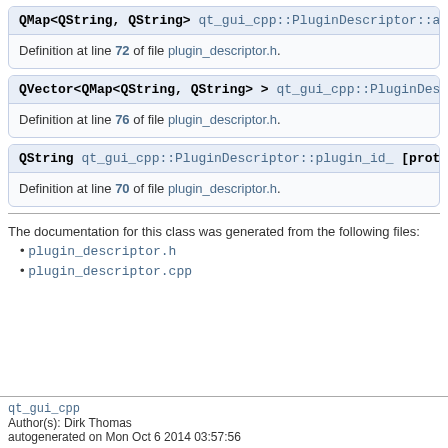QMap<QString, QString> qt_gui_cpp::PluginDescriptor::attributes_ [
Definition at line 72 of file plugin_descriptor.h.
QVector<QMap<QString, QString> > qt_gui_cpp::PluginDescriptor::gr
Definition at line 76 of file plugin_descriptor.h.
QString qt_gui_cpp::PluginDescriptor::plugin_id_ [protected]
Definition at line 70 of file plugin_descriptor.h.
The documentation for this class was generated from the following files:
plugin_descriptor.h
plugin_descriptor.cpp
qt_gui_cpp
Author(s): Dirk Thomas
autogenerated on Mon Oct 6 2014 03:57:56